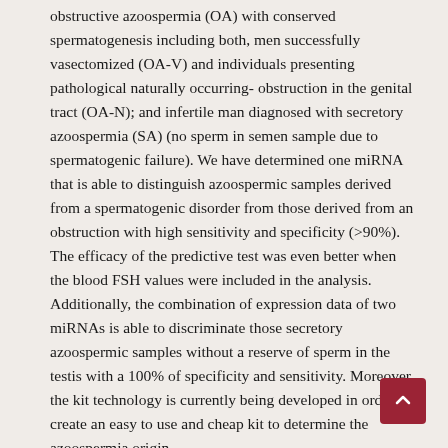obstructive azoospermia (OA) with conserved spermatogenesis including both, men successfully vasectomized (OA-V) and individuals presenting pathological naturally occurring- obstruction in the genital tract (OA-N); and infertile man diagnosed with secretory azoospermia (SA) (no sperm in semen sample due to spermatogenic failure). We have determined one miRNA that is able to distinguish azoospermic samples derived from a spermatogenic disorder from those derived from an obstruction with high sensitivity and specificity (>90%). The efficacy of the predictive test was even better when the blood FSH values were included in the analysis. Additionally, the combination of expression data of two miRNAs is able to discriminate those secretory azoospermic samples without a reserve of sperm in the testis with a 100% of specificity and sensitivity. Moreover, the kit technology is currently being developed in order to create an easy to use and cheap kit to determine the azoospermia origin.